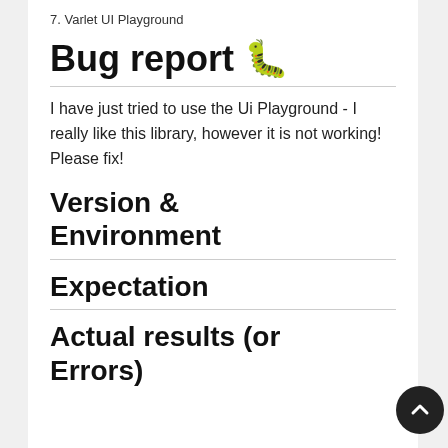7. Varlet UI Playground
Bug report 🐛
I have just tried to use the Ui Playground - I really like this library, however it is not working! Please fix!
Version & Environment
Expectation
Actual results (or Errors)